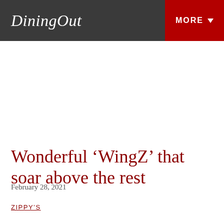Dining Out | MORE
Wonderful ‘WingZ’ that soar above the rest
February 28, 2021
ZIPPY'S